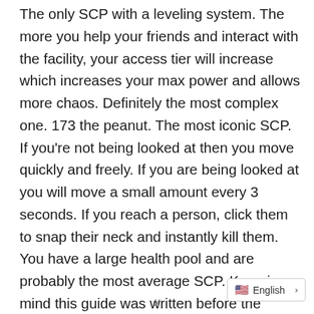The only SCP with a leveling system. The more you help your friends and interact with the facility, your access tier will increase which increases your max power and allows more chaos. Definitely the most complex one. 173 the peanut. The most iconic SCP. If you're not being looked at then you move quickly and freely. If you are being looked at you will move a small amount every 3 seconds. If you reach a person, click them to snap their neck and instantly kill them. You have a large health pool and are probably the most average SCP. Keep in mind this guide was written before the Parabellum
English